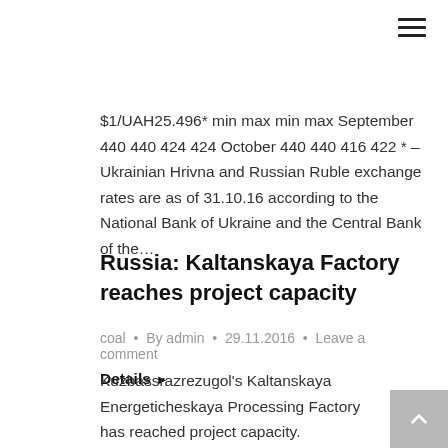[Figure (other): Hamburger menu icon (three horizontal lines) in top-right corner]
$1/UAH25.496* min max min max September 440 440 424 424 October 440 440 416 422 * – Ukrainian Hrivna and Russian Ruble exchange rates are as of 31.10.16 according to the National Bank of Ukraine and the Central Bank of the…
Details ▶
Russia: Kaltanskaya Factory reaches project capacity
coal • By admin • 29.11.2016 • Leave a comment
Kuzbassrazrezugol's Kaltanskaya Energeticheskaya Processing Factory has reached project capacity.